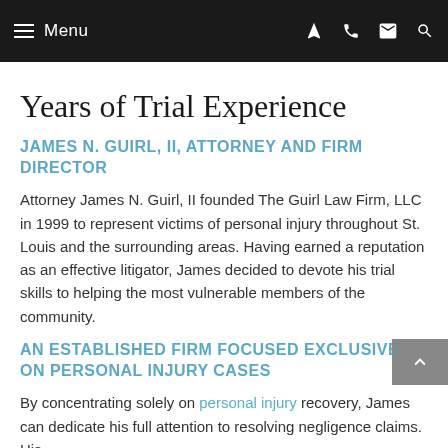Menu
Years of Trial Experience
JAMES N. GUIRL, II, ATTORNEY AND FIRM DIRECTOR
Attorney James N. Guirl, II founded The Guirl Law Firm, LLC in 1999 to represent victims of personal injury throughout St. Louis and the surrounding areas. Having earned a reputation as an effective litigator, James decided to devote his trial skills to helping the most vulnerable members of the community.
AN ESTABLISHED FIRM FOCUSED EXCLUSIVELY ON PERSONAL INJURY CASES
By concentrating solely on personal injury recovery, James can dedicate his full attention to resolving negligence claims. His